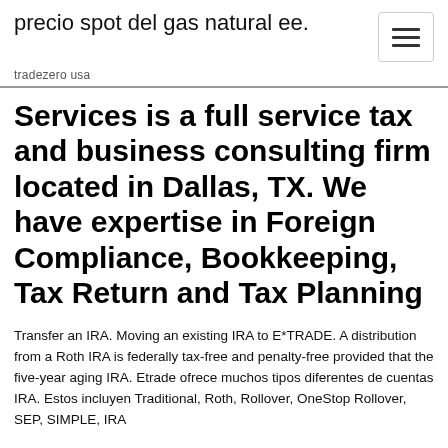precio spot del gas natural ee.
tradezero usa
Services is a full service tax and business consulting firm located in Dallas, TX. We have expertise in Foreign Compliance, Bookkeeping, Tax Return and Tax Planning
Transfer an IRA. Moving an existing IRA to E*TRADE. A distribution from a Roth IRA is federally tax-free and penalty-free provided that the five-year aging IRA. Etrade ofrece muchos tipos diferentes de cuentas IRA. Estos incluyen Traditional, Roth, Rollover, OneStop Rollover, SEP, SIMPLE, IRA